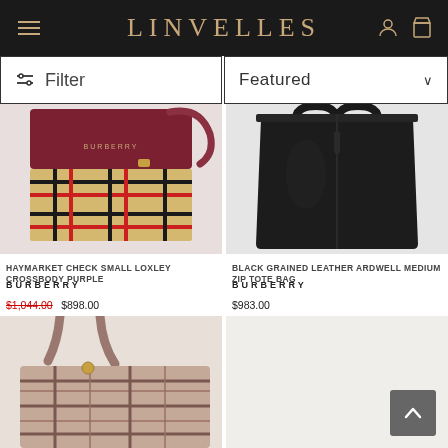LINVELLES
Filter
Featured
[Figure (photo): Burberry Haymarket check small crossbody bag in purple/tan plaid pattern with dark red top section and shoulder strap]
HAYMARKET CHECK SMALL LOXLEY CROSSBODY PURPLE
BURBERRY
$1,044.00 $898.00
[Figure (photo): Black grained leather Burberry Ardwell medium zip tote bag with black handles on light background]
BLACK GRAINED LEATHER ARDWELL MEDIUM ZIP TOTE BAG
BURBERRY
$983.00
[Figure (photo): Partial view of a Burberry plaid handbag in mauve/pink tones with structured handles]